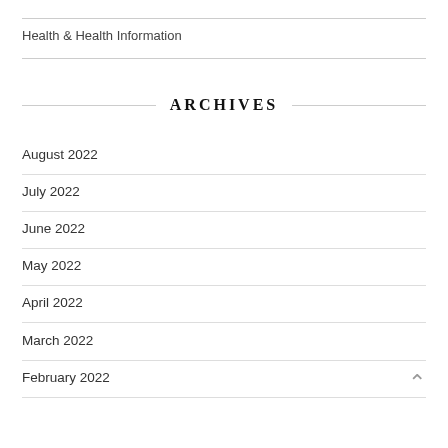Health & Health Information
ARCHIVES
August 2022
July 2022
June 2022
May 2022
April 2022
March 2022
February 2022